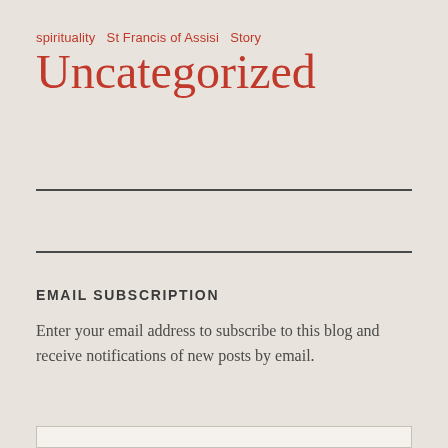spirituality  St Francis of Assisi  Story
Uncategorized
EMAIL SUBSCRIPTION
Enter your email address to subscribe to this blog and receive notifications of new posts by email.